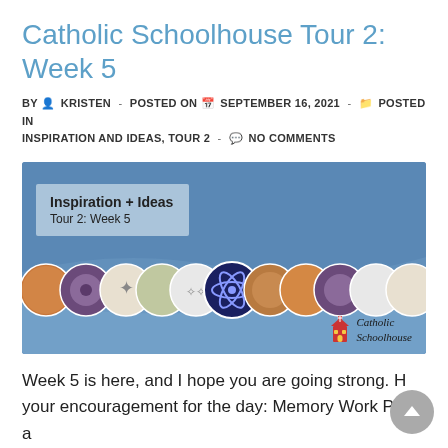Catholic Schoolhouse Tour 2: Week 5
BY KRISTEN - POSTED ON SEPTEMBER 16, 2021 - POSTED IN INSPIRATION AND IDEAS, TOUR 2 - NO COMMENTS
[Figure (illustration): Catholic Schoolhouse Inspiration + Ideas Tour 2: Week 5 banner image with a blue background, decorative circular icons of various religious and educational subjects in a band across the middle, a semi-transparent box in the upper left reading 'Inspiration + Ideas / Tour 2: Week 5', and a Catholic Schoolhouse logo in the lower right.]
Week 5 is here, and I hope you are going strong. H your encouragement for the day: Memory Work Play a